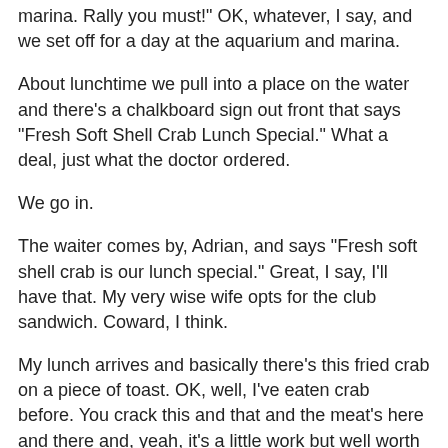marina. Rally you must!" OK, whatever, I say, and we set off for a day at the aquarium and marina.
About lunchtime we pull into a place on the water and there's a chalkboard sign out front that says "Fresh Soft Shell Crab Lunch Special." What a deal, just what the doctor ordered.
We go in.
The waiter comes by, Adrian, and says "Fresh soft shell crab is our lunch special." Great, I say, I'll have that. My very wise wife opts for the club sandwich. Coward, I think.
My lunch arrives and basically there's this fried crab on a piece of toast. OK, well, I've eaten crab before. You crack this and that and the meat's here and there and, yeah, it's a little work but well worth it in the end.
So, I crack and I peal and I split and I gnaw and I suck and mostly I suck because this is the most skinny-ass crab I ever had. It's like the Paris Hilton of crabs and I can tell you that I'm tired of crackin' and suckin'. Much like the Hilton video.